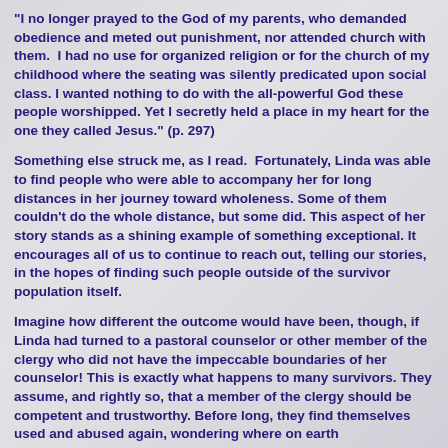"I no longer prayed to the God of my parents, who demanded obedience and meted out punishment, nor attended church with them.  I had no use for organized religion or for the church of my childhood where the seating was silently predicated upon social class. I wanted nothing to do with the all-powerful God these people worshipped. Yet I secretly held a place in my heart for the one they called Jesus." (p. 297)
Something else struck me, as I read.  Fortunately, Linda was able to find people who were able to accompany her for long distances in her journey toward wholeness. Some of them couldn't do the whole distance, but some did. This aspect of her story stands as a shining example of something exceptional. It encourages all of us to continue to reach out, telling our stories, in the hopes of finding such people outside of the survivor population itself.
Imagine how different the outcome would have been, though, if Linda had turned to a pastoral counselor or other member of the clergy who did not have the impeccable boundaries of her counselor! This is exactly what happens to many survivors. They assume, and rightly so, that a member of the clergy should be competent and trustworthy. Before long, they find themselves used and abused again, wondering where on earth